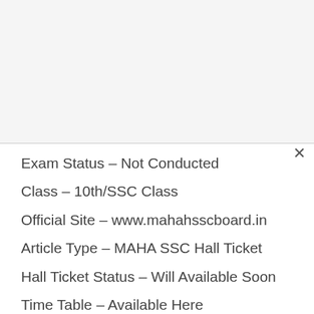Exam Status – Not Conducted
Class – 10th/SSC Class
Official Site – www.mahahsscboard.in
Article Type – MAHA SSC Hall Ticket
Hall Ticket Status – Will Available Soon
Time Table – Available Here
Syllabus – Available